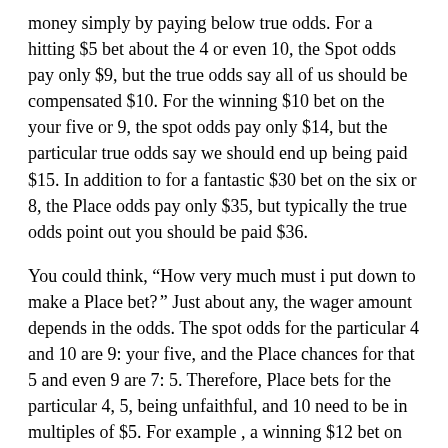money simply by paying below true odds. For a hitting $5 bet about the 4 or even 10, the Spot odds pay only $9, but the true odds say all of us should be compensated $10. For the winning $10 bet on the your five or 9, the spot odds pay only $14, but the particular true odds say we should end up being paid $15. In addition to for a fantastic $30 bet on the six or 8, the Place odds pay only $35, but typically the true odds point out you should be paid $36.
You could think, “How very much must i put down to make a Place bet? ” Just about any, the wager amount depends in the odds. The spot odds for the particular 4 and 10 are 9: your five, and the Place chances for that 5 and even 9 are 7: 5. Therefore, Place bets for the particular 4, 5, being unfaithful, and 10 need to be in multiples of $5. For example , a winning $12 bet on the particular 4 gets an individual $18. A winning $15 bet for the 9 gets you